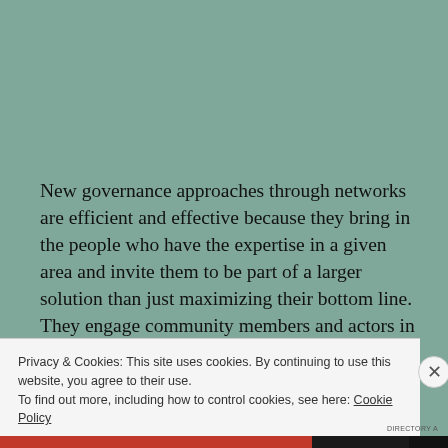New governance approaches through networks are efficient and effective because they bring in the people who have the expertise in a given area and invite them to be part of a larger solution than just maximizing their bottom line. They engage community members and actors in place-making, helping the region grow in a way that will in turn benefit each member of the network.
Privacy & Cookies: This site uses cookies. By continuing to use this website, you agree to their use.
To find out more, including how to control cookies, see here: Cookie Policy
Close and accept
DIRECTORY A